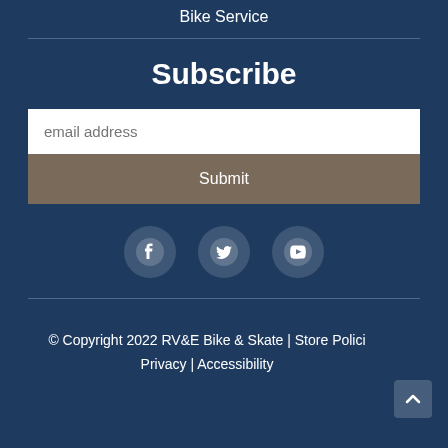Bike Service
Subscribe
email address
Submit
[Figure (other): Social media icons: Facebook, Twitter, YouTube]
© Copyright 2022 RV&E Bike & Skate | Store Polici Privacy | Accessibility